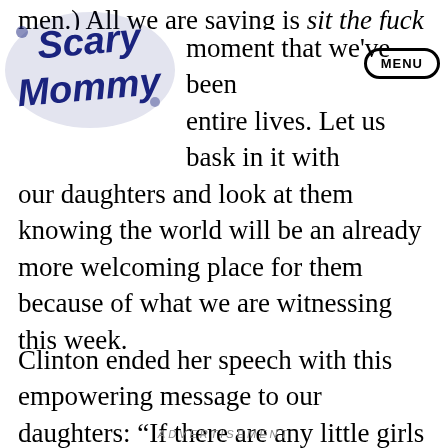[Figure (logo): Scary Mommy logo — dark blue swirly bubble-letter text reading 'Scary Mommy']
men.) All we are saying is sit the fuck down and [Scary Mommy logo] moment that we've been [MENU] entire lives. Let us bask in it with our daughters and look at them knowing the world will be an already more welcoming place for them because of what we are witnessing this week.
Clinton ended her speech with this empowering message to our daughters: “If there are any little girls out there who stayed up late to watch, let me just say, I may become the first woman president, but one of you is next.”
ADVERTISEMENT